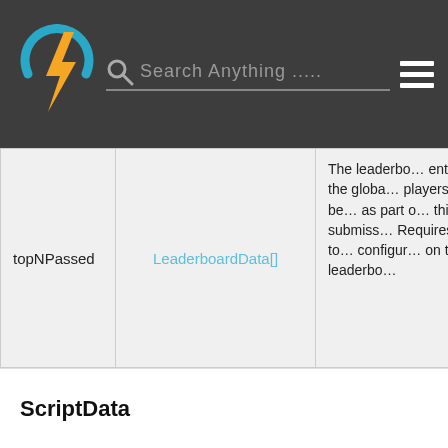Search Anything .....
|  |  |  |
| --- | --- | --- |
| topNPassed | LeaderboardData[] | The leaderboard entries of the global players that were beaten as part of this score submission. Requires Top N to be configured on the leaderboard |
ScriptData